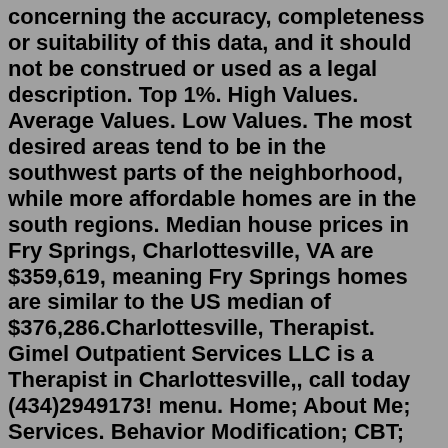concerning the accuracy, completeness or suitability of this data, and it should not be construed or used as a legal description. Top 1%. High Values. Average Values. Low Values. The most desired areas tend to be in the southwest parts of the neighborhood, while more affordable homes are in the south regions. Median house prices in Fry Springs, Charlottesville, VA are $359,619, meaning Fry Springs homes are similar to the US median of $376,286.Charlottesville, Therapist. Gimel Outpatient Services LLC is a Therapist in Charlottesville,, call today (434)2949173! menu. Home; About Me; Services. Behavior Modification; CBT; CSOTP; Trauma Focus therapy ... It helps to have a safe and non judgmental listener if you are struggling with life issues. It is my goal to be that person as you work ...A sharp tongued and fierce witted full-color collection of maps of America's greatest cities in all their brutally honest glory. Your City. Judged. When you move to a new city you look at a map to get you where you need to be, but a Google Map of San Francisco won't tell you where